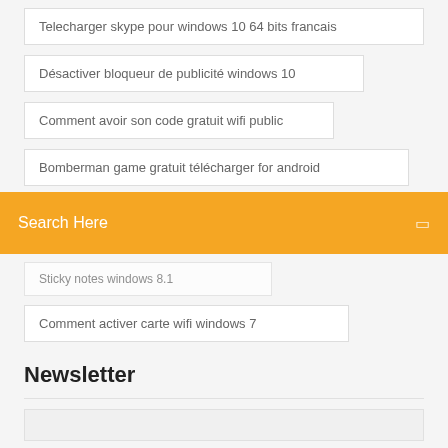Telecharger skype pour windows 10 64 bits francais
Désactiver bloqueur de publicité windows 10
Comment avoir son code gratuit wifi public
Bomberman game gratuit télécharger for android
Search Here
Sticky notes windows 8.1
Comment activer carte wifi windows 7
Newsletter